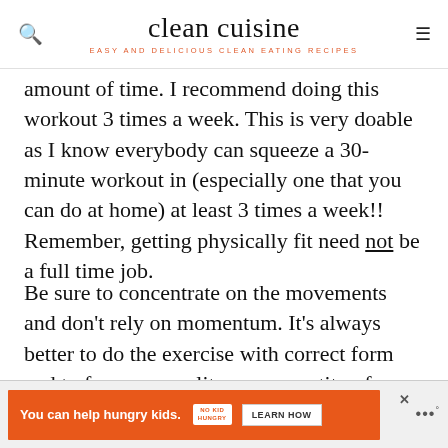clean cuisine — EASY AND DELICIOUS CLEAN EATING RECIPES
amount of time. I recommend doing this workout 3 times a week. This is very doable as I know everybody can squeeze a 30-minute workout in (especially one that you can do at home) at least 3 times a week!! Remember, getting physically fit need not be a full time job.
Be sure to concentrate on the movements and don't rely on momentum. It's always better to do the exercise with correct form and to focus on quality over quantity of reps or the amount of weight lifted. Take your time to learn the proper fo
[Figure (infographic): Advertisement banner: orange background with text 'You can help hungry kids.' and No Kid Hungry logo, LEARN HOW button. Close X button visible.]